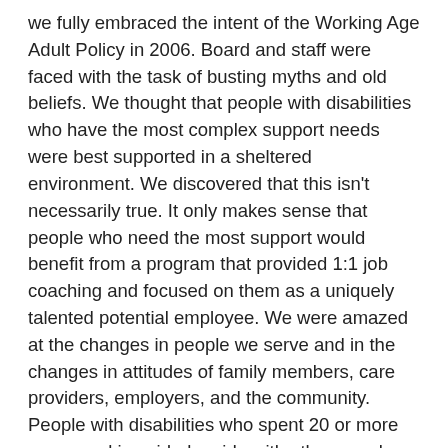we fully embraced the intent of the Working Age Adult Policy in 2006. Board and staff were faced with the task of busting myths and old beliefs. We thought that people with disabilities who have the most complex support needs were best supported in a sheltered environment. We discovered that this isn't necessarily true. It only makes sense that people who need the most support would benefit from a program that provided 1:1 job coaching and focused on them as a uniquely talented potential employee. We were amazed at the changes in people we serve and in the changes in attitudes of family members, care providers, employers, and the community. People with disabilities who spent 20 or more years working side-by-side with other people with disabilities, thrived when introduced to new environments and new job tasks. Behaviors like spitting, yelling out, and being off-task stopped immediately because people working at “real jobs” don’t do those things. People with intellectual disabilities learn by modeling. We gave them a whole new set of role models and they responded accordingly.
We did a lot of planning, implementing, measuring results, setting targets, and trying new ways of doing things when